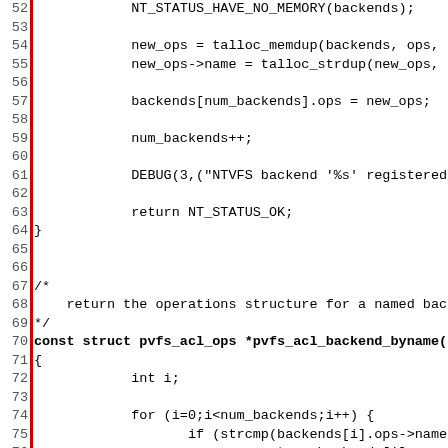[Figure (screenshot): Source code listing in C showing function bodies with line numbers 52-83, including NT_STATUS_HAVE_NO_MEMORY, talloc_memdup, backends registration, DEBUG, NT_STATUS_OK, pvfs_acl_backend_byname function, and pvfs_acl_init function stub. A red vertical bar appears on the left margin.]